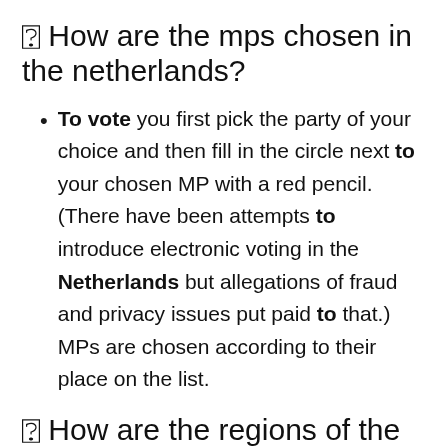❓ How are the mps chosen in the netherlands?
To vote you first pick the party of your choice and then fill in the circle next to your chosen MP with a red pencil. (There have been attempts to introduce electronic voting in the Netherlands but allegations of fraud and privacy issues put paid to that.) MPs are chosen according to their place on the list.
❓ How are the regions of the netherlands defined?